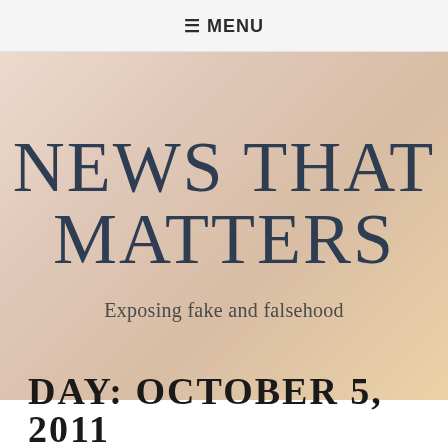≡ MENU
NEWS THAT MATTERS
Exposing fake and falsehood
DAY: OCTOBER 5, 2011